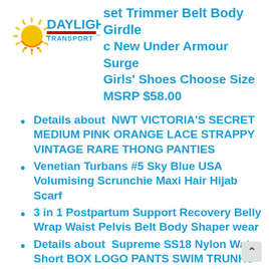[Figure (logo): Daylight Transport logo with sun graphic and blue/red/yellow text]
set Trimmer Belt Body Girdle
c New Under Armour Surge Girls' Shoes Choose Size MSRP $58.00
Details about NWT VICTORIA'S SECRET MEDIUM PINK ORANGE LACE STRAPPY VINTAGE RARE THONG PANTIES
Venetian Turbans #5 Sky Blue USA Volumising Scrunchie Maxi Hair Hijab Scarf
3 in 1 Postpartum Support Recovery Belly Wrap Waist Pelvis Belt Body Shaper wear
Details about Supreme SS18 Nylon Water Short BOX LOGO PANTS SWIM TRUNKS BANNER BASKETBALL ARC